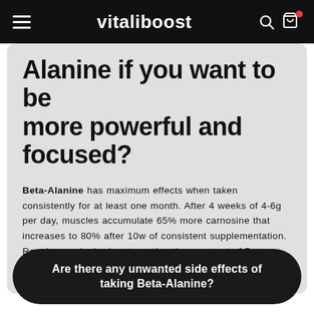vitaliboost
Alanine if you want to be more powerful and focused?
Beta-Alanine has maximum effects when taken consistently for at least one month. After 4 weeks of 4-6g per day, muscles accumulate 65% more carnosine that increases to 80% after 10w of consistent supplementation. Regular use is the key to getting the most out of Beta-Alanine
Are there any unwanted side effects of taking Beta-Alanine?